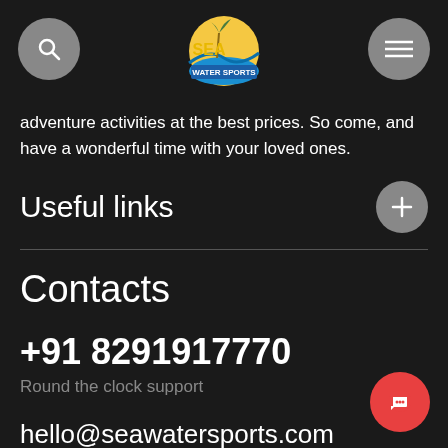Sea Water Sports is one of the leading watersports companies in India that helps you enjoy your holiday in the best possible way with the best deals, adventure activities at the best prices. So come, and have a wonderful time with your loved ones.
Useful links
Contacts
+91 8291917770
Round the clock support
hello@seawatersports.com
For any questions
Mumbai